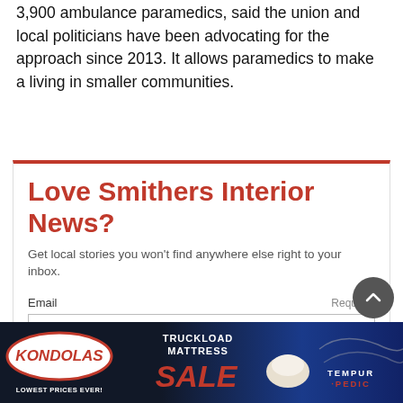3,900 ambulance paramedics, said the union and local politicians have been advocating for the approach since 2013. It allows paramedics to make a living in smaller communities.
Love Smithers Interior News?
Get local stories you won't find anywhere else right to your inbox.
Email   Required
[Figure (other): Kondolas Truckload Mattress Sale advertisement banner featuring Tempur-Pedic branding]